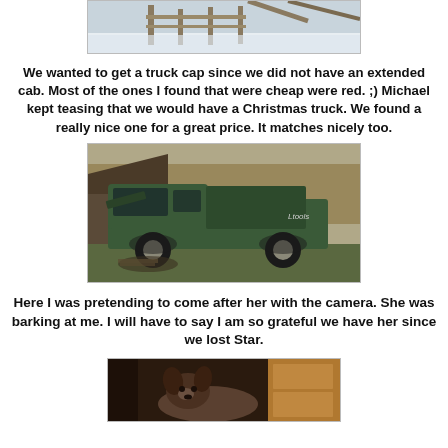[Figure (photo): Partial photo of a snowy outdoor scene with wooden fence or structure]
We wanted to get a truck cap since we did not have an extended cab.  Most of the ones I found that were cheap were red.  ;)  Michael kept teasing that we would have a Christmas truck.  We found a really nice one for a great price.  It matches nicely too.
[Figure (photo): Green pickup truck with a matching green truck cap, parked outdoors near a shed with trees in the background]
Here I was pretending to come after her with the camera. She was barking at me. I will have to say I am so grateful we have her since we lost Star.
[Figure (photo): Partial photo of a dog indoors near wooden furniture]